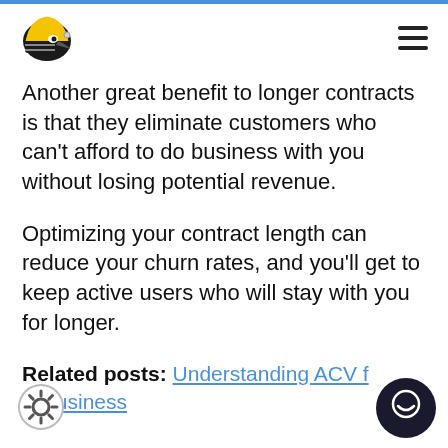[Logo: helmeted character] [Hamburger menu icon]
Another great benefit to longer contracts is that they eliminate customers who can't afford to do business with you without losing potential revenue.
Optimizing your contract length can reduce your churn rates, and you'll get to keep active users who will stay with you for longer.
Related posts: Understanding ACV f… S Business